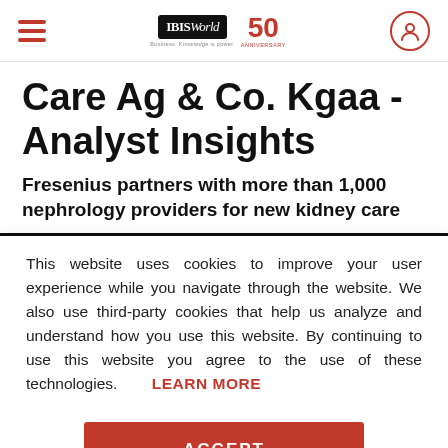IBISWorld 50th Anniversary [navigation bar with hamburger menu and user icon]
Care Ag & Co. Kgaa - Analyst Insights
Fresenius partners with more than 1,000 nephrology providers for new kidney care
This website uses cookies to improve your user experience while you navigate through the website. We also use third-party cookies that help us analyze and understand how you use this website. By continuing to use this website you agree to the use of these technologies. LEARN MORE
ACCEPT